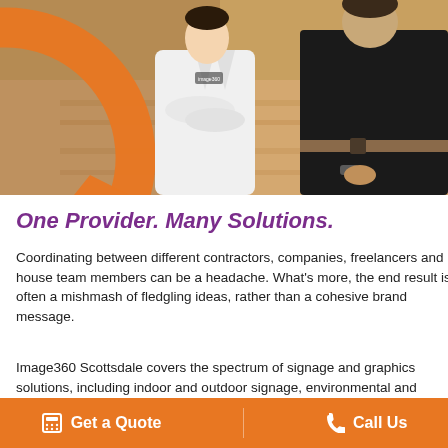[Figure (photo): Two people standing: one in a white lab coat with arms crossed (left), one in a dark shirt (right). Orange circular arc graphic on left side. Indoor background.]
One Provider. Many Solutions.
Coordinating between different contractors, companies, freelancers and in-house team members can be a headache. What’s more, the end result is often a mishmash of fledgling ideas, rather than a cohesive brand message.
Image360 Scottsdale covers the spectrum of signage and graphics solutions, including indoor and outdoor signage, environmental and experimental graphics, wayfinding
Get a Quote   Call Us